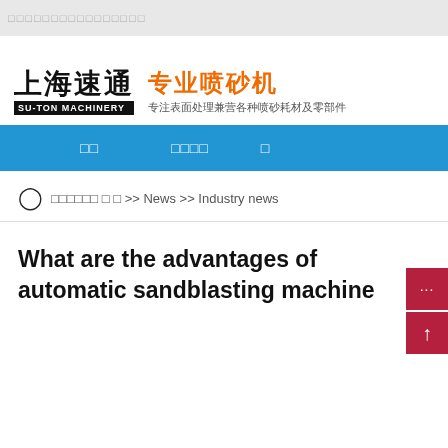□□□□□□□□□□□□□□□□
[Figure (logo): Su-Ton Machinery logo with Chinese characters 上海速通 and tagline 专业喷砂机 专注表面处理兼营各种喷砂耗材及零部件]
首页  产品中心  ...
□□□□□□ □ □ >> News >> Industry news
What are the advantages of automatic sandblasting machine